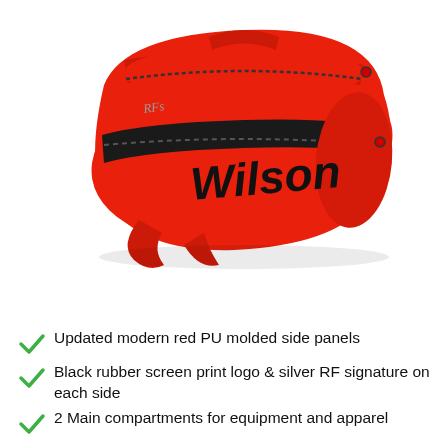[Figure (photo): Red Wilson tennis racket bag with black zipper stripe and Wilson logo, shown at an angle on white background]
Updated modern red PU molded side panels
Black rubber screen print logo & silver RF signature on each side
2 Main compartments for equipment and apparel